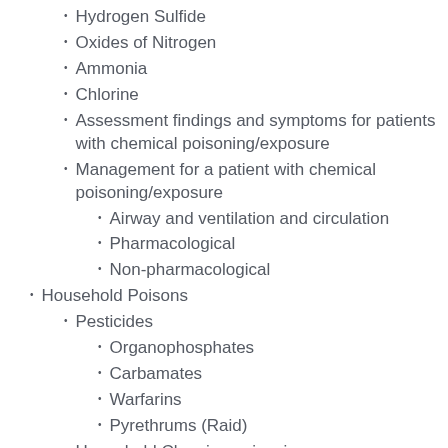Hydrogen Sulfide
Oxides of Nitrogen
Ammonia
Chlorine
Assessment findings and symptoms for patients with chemical poisoning/exposure
Management for a patient with chemical poisoning/exposure
Airway and ventilation and circulation
Pharmacological
Non-pharmacological
Household Poisons
Pesticides
Organophosphates
Carbamates
Warfarins
Pyrethrums (Raid)
Household Cleaning poisonings